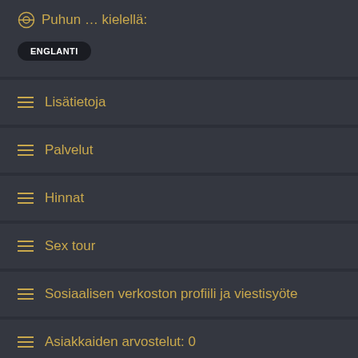Puhun … kielellä:
ENGLANTI
Lisätietoja
Palvelut
Hinnat
Sex tour
Sosiaalisen verkoston profiili ja viestisyöte
Asiakkaiden arvostelut: 0